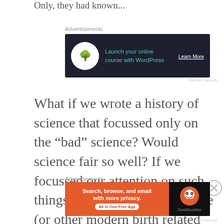Only, they had known...
[Figure (screenshot): Advertisement banner: dark background with bonsai tree icon, teal text 'Launch your online course with WordPress', and 'Learn More' CTA button]
What if we wrote a history of science that focussed only on the “bad” science? Would science fair so well? If we focussed our attention on such things as bleeding, Thalidomide (or other modern birth related experiments — why is it that women were in stirrups and given, often
[Figure (screenshot): Advertisement banner: orange/black DuckDuckGo ad reading 'Search, browse, and email with more privacy. All in One Free App' with DuckDuckGo logo]